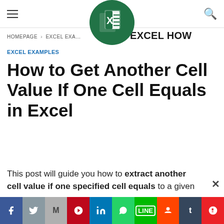[Figure (logo): Excel logo: green circle with white X and spreadsheet icon, site name EXCEL HOW]
HOMEPAGE > EXCEL EXAMPLES
EXCEL EXAMPLES
How to Get Another Cell Value If One Cell Equals in Excel
This post will guide you how to extract another cell value if one specified cell equals to a given
[Figure (infographic): Social sharing bar with icons: Facebook, Twitter, Gmail, Pinterest, LinkedIn, WhatsApp, Line, Reddit, Tumblr, StumbleUpon]